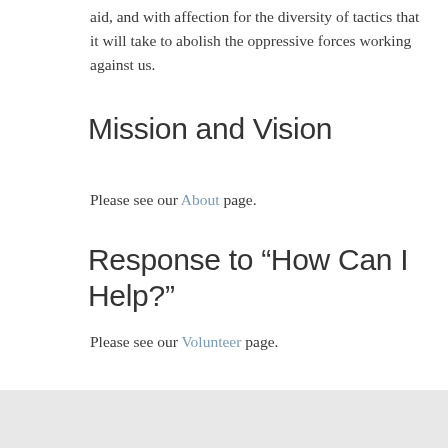aid, and with affection for the diversity of tactics that it will take to abolish the oppressive forces working against us.
Mission and Vision
Please see our About page.
Response to “How Can I Help?”
Please see our Volunteer page.